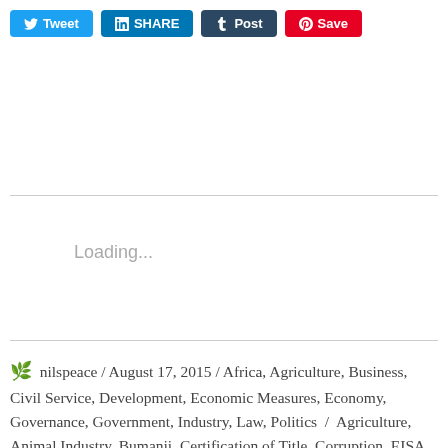[Figure (other): Social media sharing buttons: Tweet (Twitter), SHARE (LinkedIn), Post (Tumblr), Save (Pinterest)]
Loading...
🌿 nilspeace / August 17, 2015 / Africa, Agriculture, Business, Civil Service, Development, Economic Measures, Economy, Governance, Government, Industry, Law, Politics / Agriculture, Animal Industry, Bumanji, Certification of Title, Corruption, EISA, Fisheries, Global Forest Watch, GoU, Government of Uganda, Graft, Jinja Oil Refinary, Kalangala, Kalangala District, Kalangala Islands, Kalangala Land Grabbing, Land Grabb, Land Owner, M/S Bidco Uganda Limitid, MAAIF, Ms Sylvia Gloria N.K. Sempa, National Environment Management Authority, National Forest